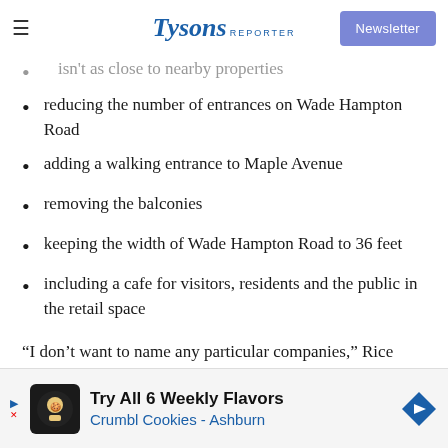Tysons Reporter | Newsletter
isn't as close to nearby properties
reducing the number of entrances on Wade Hampton Road
adding a walking entrance to Maple Avenue
removing the balconies
keeping the width of Wade Hampton Road to 36 feet
including a cafe for visitors, residents and the public in the retail space
“I don’t want to name any particular companies,” Rice said. “We tried to come up with an outline that would address as many of the issues as we could.”
[Figure (other): Advertisement for Crumbl Cookies Ashburn: Try All 6 Weekly Flavors]